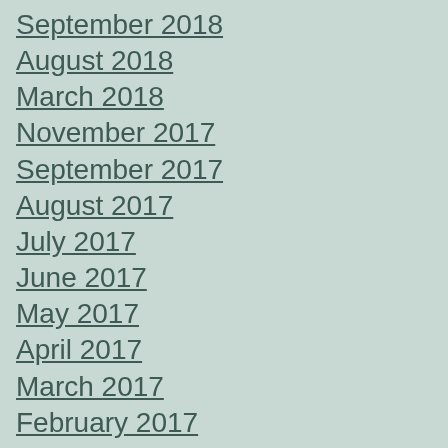September 2018
August 2018
March 2018
November 2017
September 2017
August 2017
July 2017
June 2017
May 2017
April 2017
March 2017
February 2017
January 2017